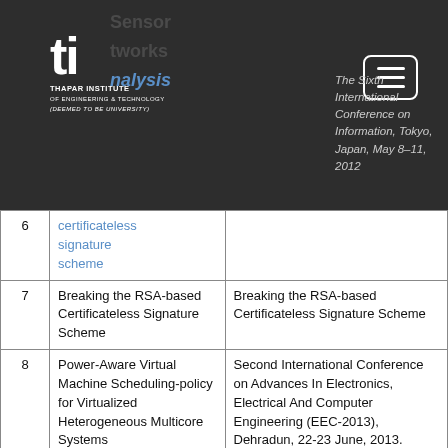Thapar Institute of Engineering & Technology — Navigation header with logo and hamburger menu
| # | Title | Venue |
| --- | --- | --- |
| 6 | certificateless signature scheme | The Sixth International Conference on Information, Tokyo, Japan, May 8–11, 2012 |
| 7 | Breaking the RSA-based Certificateless Signature Scheme | Breaking the RSA-based Certificateless Signature Scheme |
| 8 | Power-Aware Virtual Machine Scheduling-policy for Virtualized Heterogeneous Multicore Systems | Second International Conference on Advances In Electronics, Electrical And Computer Engineering (EEC-2013), Dehradun, 22-23 June, 2013. |